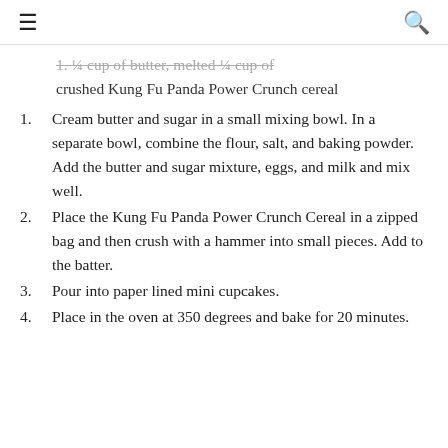☰  🔍
1. ¼ cup of butter, melted ¼ cup of crushed Kung Fu Panda Power Crunch cereal
1. Cream butter and sugar in a small mixing bowl. In a separate bowl, combine the flour, salt, and baking powder. Add the butter and sugar mixture, eggs, and milk and mix well.
2. Place the Kung Fu Panda Power Crunch Cereal in a zipped bag and then crush with a hammer into small pieces. Add to the batter.
3. Pour into paper lined mini cupcakes.
4. Place in the oven at 350 degrees and bake for 20 minutes.